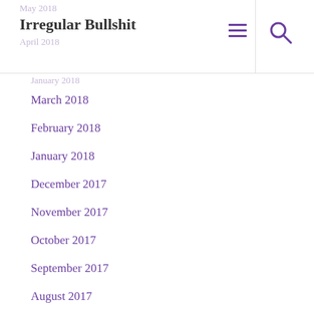Irregular Bullshit
March 2018
February 2018
January 2018
December 2017
November 2017
October 2017
September 2017
August 2017
July 2017
June 2017
May 2017